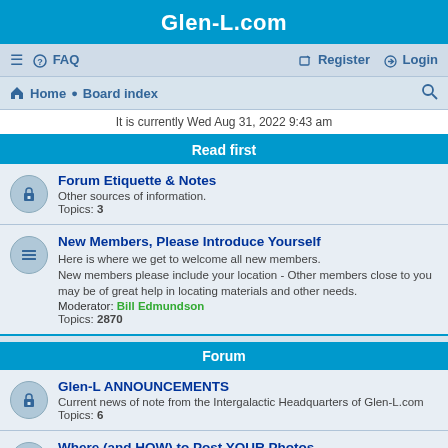Glen-L.com
≡  FAQ   Register  Login
Home · Board index
It is currently Wed Aug 31, 2022 9:43 am
Read first
Forum Etiquette & Notes
Other sources of information.
Topics: 3
New Members, Please Introduce Yourself
Here is where we get to welcome all new members.
New members please include your location - Other members close to you may be of great help in locating materials and other needs.
Moderator: Bill Edmundson
Topics: 2870
Forum
Glen-L ANNOUNCEMENTS
Current news of note from the Intergalactic Headquarters of Glen-L.com
Topics: 6
Where (and HOW) to Post YOUR Photos
All about the Special Area we've created so everyone can easily find photos of your boat/build.
Topics: 1